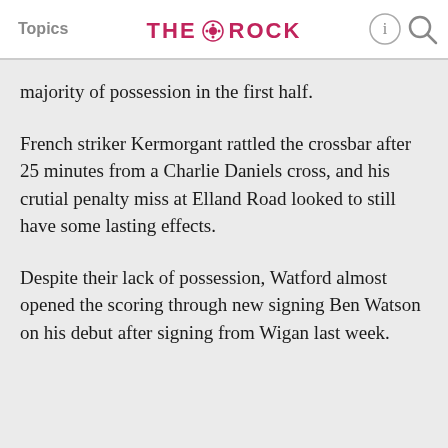Topics   THE ROCK
majority of possession in the first half.
French striker Kermorgant rattled the crossbar after 25 minutes from a Charlie Daniels cross, and his crutial penalty miss at Elland Road looked to still have some lasting effects.
Despite their lack of possession, Watford almost opened the scoring through new signing Ben Watson on his debut after signing from Wigan last week.